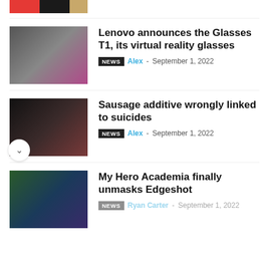[Figure (photo): Partial thumbnail at top of page showing red, dark, and tan colored objects]
[Figure (photo): Person sitting on couch using laptop with VR/AR display visible]
Lenovo announces the Glasses T1, its virtual reality glasses
NEWS  Alex - September 1, 2022
[Figure (photo): Sliced sausage with herbs on dark background]
Sausage additive wrongly linked to suicides
NEWS  Alex - September 1, 2022
[Figure (photo): Anime character from My Hero Academia - Edgeshot unmasked scene]
My Hero Academia finally unmasks Edgeshot
NEWS  Ryan Carter - September 1, 2022